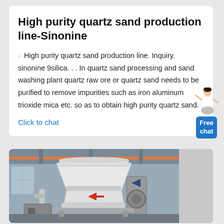High purity quartz sand production line-Sinonine
· High purity quartz sand production line. Inquiry. sinonine 9silica. . . In quartz sand processing and sand washing plant quartz raw ore or quartz sand needs to be purified to remove impurities such as iron aluminum trioxide mica etc. so as to obtain high purity quartz sand.
Click to chat
[Figure (photo): Industrial machinery in a factory setting, showing a large white conical/bell-shaped piece of equipment (likely a sand processing machine) with pipes and other industrial equipment in the background.]